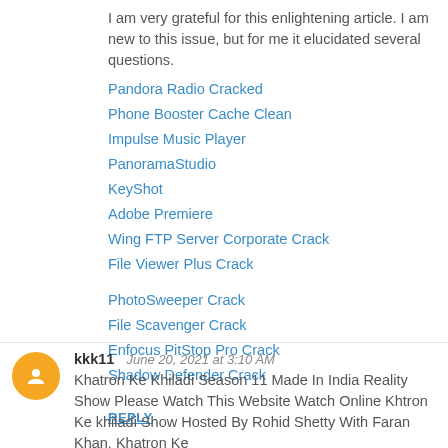I am very grateful for this enlightening article. I am new to this issue, but for me it elucidated several questions.
Pandora Radio Cracked
Phone Booster Cache Clean
Impulse Music Player
PanoramaStudio
KeyShot
Adobe Premiere
Wing FTP Server Corporate Crack
File Viewer Plus Crack
PhotoSweeper Crack
File Scavenger Crack
Enfocus PitStop Pro Crack
Shadow Defender Crack
REPLY
kkk11  June 20, 2021 at 3:10 AM
Khatron Ke Khiladi Season 11 Made In India Reality Show Please Watch This Website Watch Online Khtron Ke khiladi Show Hosted By Rohid Shetty With Faran Khan. Khatron Ke